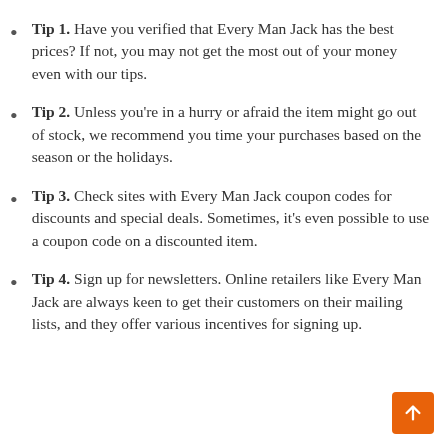Tip 1. Have you verified that Every Man Jack has the best prices? If not, you may not get the most out of your money even with our tips.
Tip 2. Unless you're in a hurry or afraid the item might go out of stock, we recommend you time your purchases based on the season or the holidays.
Tip 3. Check sites with Every Man Jack coupon codes for discounts and special deals. Sometimes, it's even possible to use a coupon code on a discounted item.
Tip 4. Sign up for newsletters. Online retailers like Every Man Jack are always keen to get their customers on their mailing lists, and they offer various incentives for signing up.